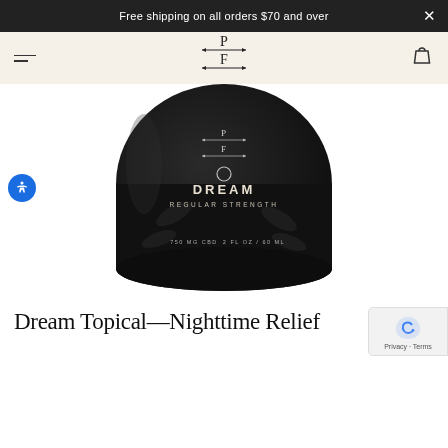Free shipping on all orders $70 and over
[Figure (logo): PF brand logo with arrow dividers]
[Figure (photo): Dark glass jar product labeled: DREAM, REGULAR STRENGTH, 750 MG CBD, 2 FL OZ / 60 ML with botanical design]
Dream Topical—Nighttime Relief